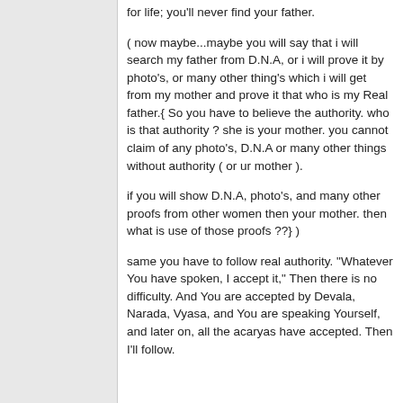for life; you'll never find your father.
( now maybe...maybe you will say that i will search my father from D.N.A, or i will prove it by photo's, or many other thing's which i will get from my mother and prove it that who is my Real father.{ So you have to believe the authority. who is that authority ? she is your mother. you cannot claim of any photo's, D.N.A or many other things without authority ( or ur mother ).
if you will show D.N.A, photo's, and many other proofs from other women then your mother. then what is use of those proofs ??} )
same you have to follow real authority. "Whatever You have spoken, I accept it," Then there is no difficulty. And You are accepted by Devala, Narada, Vyasa, and You are speaking Yourself, and later on, all the acaryas have accepted. Then I'll follow.